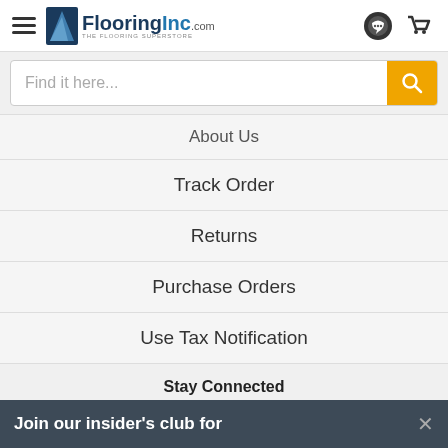FlooringInc.com navigation header with logo, hamburger menu, search, and icon buttons
Find it here...
About Us
Track Order
Returns
Purchase Orders
Use Tax Notification
Stay Connected
[Figure (infographic): Social media icons: Facebook, Pinterest, YouTube, Instagram, Email, Blog]
Join our insider's club for